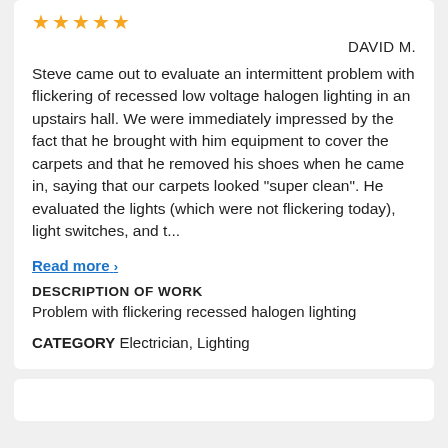[Figure (other): Five gold star rating icons]
DAVID M.
Steve came out to evaluate an intermittent problem with flickering of recessed low voltage halogen lighting in an upstairs hall. We were immediately impressed by the fact that he brought with him equipment to cover the carpets and that he removed his shoes when he came in, saying that our carpets looked "super clean". He evaluated the lights (which were not flickering today), light switches, and t...
Read more ›
DESCRIPTION OF WORK
Problem with flickering recessed halogen lighting
CATEGORY Electrician, Lighting